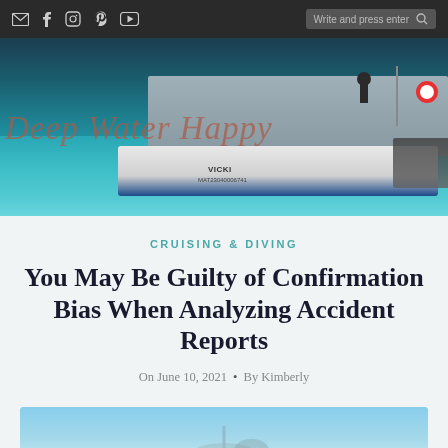Deep Water Happy — navigation bar with social icons and search
[Figure (photo): Hero banner showing a boat named VICKI (MAT23040006741) on blue water with divers gear, overlaid with cursive text 'Deep Water Happy']
CRUISING & DIVING
You May Be Guilty of Confirmation Bias When Analyzing Accident Reports
On June 10, 2021 • By Kimberly
[Figure (photo): Partial bottom image preview — sky and possibly divers or boat scene]